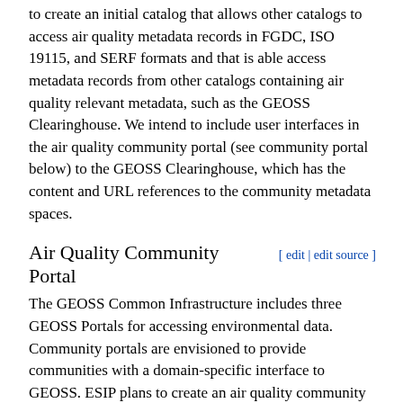to create an initial catalog that allows other catalogs to access air quality metadata records in FGDC, ISO 19115, and SERF formats and that is able access metadata records from other catalogs containing air quality relevant metadata, such as the GEOSS Clearinghouse. We intend to include user interfaces in the air quality community portal (see community portal below) to the GEOSS Clearinghouse, which has the content and URL references to the community metadata spaces.
Air Quality Community Portal
The GEOSS Common Infrastructure includes three GEOSS Portals for accessing environmental data. Community portals are envisioned to provide communities with a domain-specific interface to GEOSS. ESIP plans to create an air quality community portal based on previous work in developing an ESIP Portal and an air emissions portal (NEISGEI), both using the Open Source portal development of Liferay. The air quality community portal